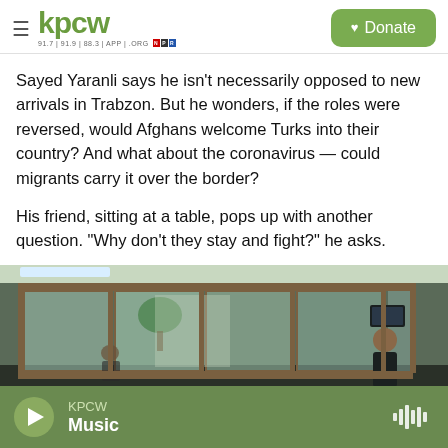KPCW — 91.7 | 91.9 | 88.3 | APP | .ORG — Donate
Sayed Yaranli says he isn't necessarily opposed to new arrivals in Trabzon. But he wonders, if the roles were reversed, would Afghans welcome Turks into their country? And what about the coronavirus — could migrants carry it over the border?
His friend, sitting at a table, pops up with another question. "Why don't they stay and fight?" he asks.
[Figure (photo): Interior photo showing a room with large window panels/sliding doors. A tree is visible outside through the glass. A person stands in silhouette near the right side. A ceiling light is visible at the top left.]
KPCW — Music (audio player bar with play button and waveform icon)